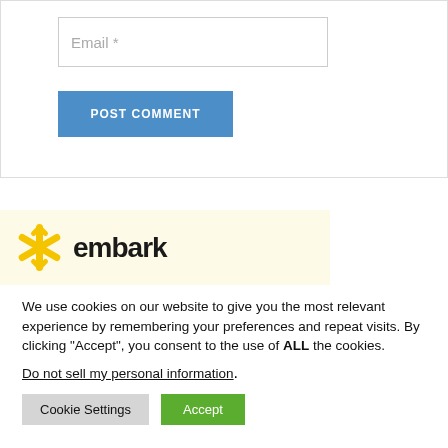Email *
POST COMMENT
[Figure (logo): Embark logo with yellow asterisk/snowflake icon and 'embark' text in dark font on a light yellow background]
We use cookies on our website to give you the most relevant experience by remembering your preferences and repeat visits. By clicking “Accept”, you consent to the use of ALL the cookies.
Do not sell my personal information.
Cookie Settings
Accept